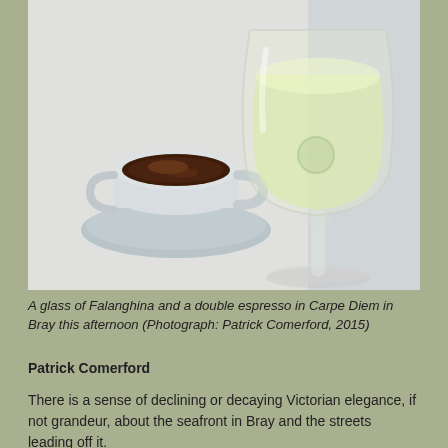[Figure (photo): A photograph of a white espresso cup with dark coffee on a light blue saucer on the left, and a large wine glass filled with white (Falanghina) wine on the right, both on a white table surface.]
A glass of Falanghina and a double espresso in Carpe Diem in Bray this afternoon (Photograph: Patrick Comerford, 2015)
Patrick Comerford
There is a sense of declining or decaying Victorian elegance, if not grandeur, about the seafront in Bray and the streets leading off it.
I had a sense of overwhelming elegance this afternoon, t...